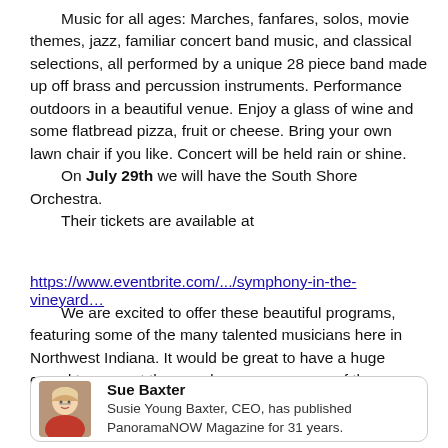Music for all ages: Marches, fanfares, solos, movie themes, jazz, familiar concert band music, and classical selections, all performed by a unique 28 piece band made up off brass and percussion instruments. Performance outdoors in a beautiful venue. Enjoy a glass of wine and some flatbread pizza, fruit or cheese. Bring your own lawn chair if you like. Concert will be held rain or shine.
    On July 29th we will have the South Shore Orchestra.
    Their tickets are available at
https://www.eventbrite.com/.../symphony-in-the-vineyard…
We are excited to offer these beautiful programs, featuring some of the many talented musicians here in Northwest Indiana. It would be great to have a huge crowd to support them and encourage more of these great performances at the Winery!
[Figure (photo): Headshot of Sue Baxter, a woman with blonde hair and glasses, smiling]
Sue Baxter
Susie Young Baxter, CEO, has published PanoramaNOW Magazine for 31 years.